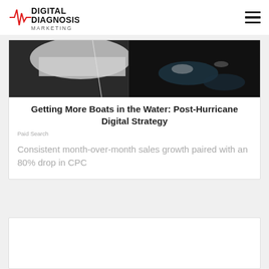Digital Diagnosis Marketing
[Figure (photo): Dark nautical image showing boat hull and water surface]
Getting More Boats in the Water: Post-Hurricane Digital Strategy
Paid Search
Consistent month-over-month sales growth paired with an 80% drop in CPC